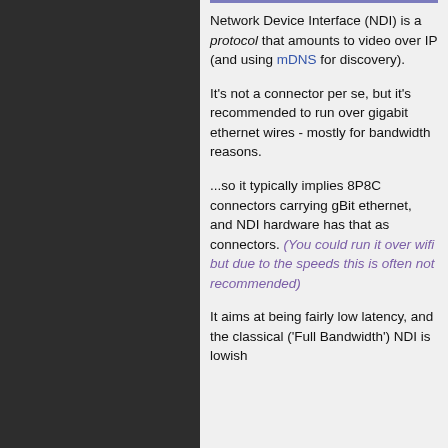[Figure (illustration): Dark grey gear/cog pattern background on the left panel, repeating gear icons in a darker shade on dark background]
Network Device Interface (NDI) is a protocol that amounts to video over IP (and using mDNS for discovery).
It's not a connector per se, but it's recommended to run over gigabit ethernet wires - mostly for bandwidth reasons.
...so it typically implies 8P8C connectors carrying gBit ethernet, and NDI hardware has that as connectors. (You could run it over wifi but due to the speeds this is often not recommended)
It aims at being fairly low latency, and the classical ('Full Bandwidth') NDI is lowish